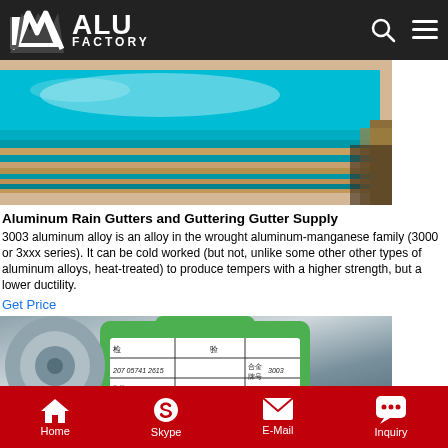ALU FACTORY
[Figure (photo): Photo of stacked blue/teal anodized aluminum sheets with protective blue film on top, showing layered edges, placed on kraft paper background.]
Aluminum Rain Gutters and Guttering Gutter Supply
3003 aluminum alloy is an alloy in the wrought aluminum-manganese family (3000 or 3xxx series). It can be cold worked (but not, unlike some other other types of aluminum alloys, heat-treated) to produce tempers with a higher strength, but a lower ductility.
Get Price
[Figure (photo): Photo of a green quality inspection label/tag attached to aluminum sheet/roll, with Chinese characters and handwritten data including alloy designation 3003.]
Home  Skype  E-Mail  Inquiry